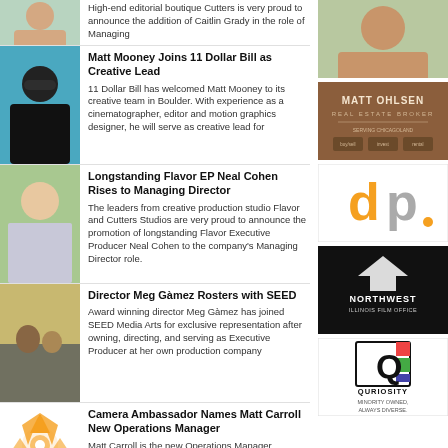High-end editorial boutique Cutters is very proud to announce the addition of Caitlin Grady in the role of Managing
Matt Mooney Joins 11 Dollar Bill as Creative Lead
11 Dollar Bill has welcomed Matt Mooney to its creative team in Boulder. With experience as a cinematographer, editor and motion graphics designer, he will serve as creative lead for
Longstanding Flavor EP Neal Cohen Rises to Managing Director
The leaders from creative production studio Flavor and Cutters Studios are very proud to announce the promotion of longstanding Flavor Executive Producer Neal Cohen to the company's Managing Director role.
Director Meg Gàmez Rosters with SEED
Award winning director Meg Gàmez has joined SEED Media Arts for exclusive representation after owning, directing, and serving as Executive Producer at her own production company
Camera Ambassador Names Matt Carroll New Operations Manager
Matt Carroll is the new Operations Manager
[Figure (photo): Headshot of a young man smiling in red shirt]
[Figure (photo): Matt Ohlsen Real Estate Broker advertisement - brown background]
[Figure (photo): dp logo - orange and gray letters]
[Figure (photo): Northwest Illinois Film Office logo - black background with bird icon]
[Figure (photo): Quriosity - Minority Owned Always Diverse logo]